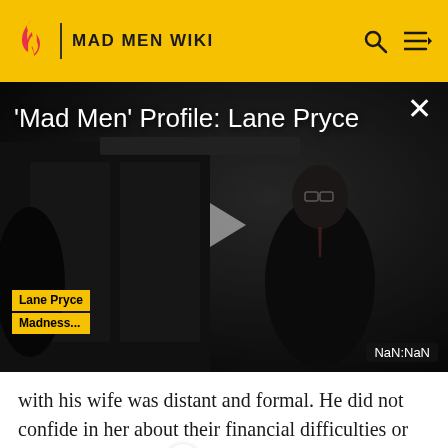MAD MEN WIKI
[Figure (screenshot): Video player showing a dark scene from Mad Men with a man in a suit and glasses. Title overlay reads "'Mad Men' Profile: Lane Pryce". A play button triangle is centered. Bottom right shows 'NaN:NaN' timestamp. Bottom left shows 'Lane Pryce' label in yellow. Close X button top right.]
with his wife was distant and formal. He did not confide in her about their financial difficulties or his inner feelings.
Lane continued to chafe at his position in life. He engaged in subterfuge when he found a wallet with a photo of an